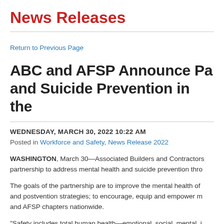News Releases
Return to Previous Page
ABC and AFSP Announce Pa… and Suicide Prevention in the…
WEDNESDAY, MARCH 30, 2022 10:22 AM
Posted in Workforce and Safety, News Release 2022
WASHINGTON, March 30—Associated Builders and Contractors… partnership to address mental health and suicide prevention thro…
The goals of the partnership are to improve the mental health of… and postvention strategies; to encourage, equip and empower m… and AFSP chapters nationwide.
“Safety includes total human health—emotional, social, mental, i… raise the bar for safety for the construction workforce of more th…